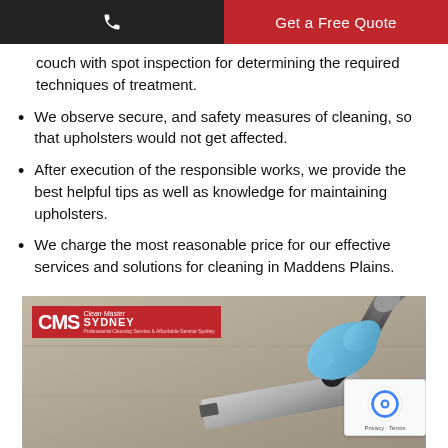Get a Free Quote
couch with spot inspection for determining the required techniques of treatment.
We observe secure, and safety measures of cleaning, so that upholsters would not get affected.
After execution of the responsible works, we provide the best helpful tips as well as knowledge for maintaining upholsters.
We charge the most reasonable price for our effective services and solutions for cleaning in Maddens Plains.
[Figure (photo): Photo showing upholstery cleaning with a vacuum/extraction tool held by a gloved hand, with CMS Clean Master Sydney logo overlay in the top-left and a reCAPTCHA badge in the bottom-right.]